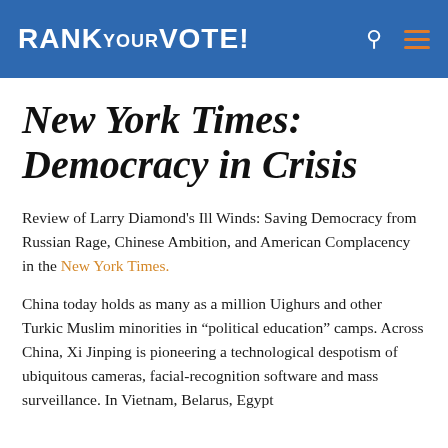RANK YOUR VOTE!
New York Times: Democracy in Crisis
Review of Larry Diamond's Ill Winds: Saving Democracy from Russian Rage, Chinese Ambition, and American Complacency in the New York Times.
China today holds as many as a million Uighurs and other Turkic Muslim minorities in “political education” camps. Across China, Xi Jinping is pioneering a technological despotism of ubiquitous cameras, facial-recognition software and mass surveillance. In Vietnam, Belarus, Egypt